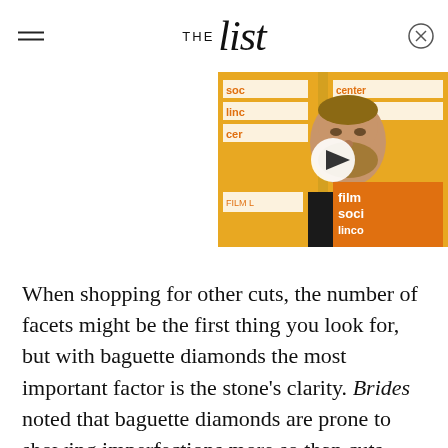THE list
[Figure (screenshot): Video thumbnail showing a man at a film society event, with a play button overlay. Background shows orange and white signage with text 'film society', 'Lincoln center', 'LM LIVES'.]
When shopping for other cuts, the number of facets might be the first thing you look for, but with baguette diamonds the most important factor is the stone's clarity. Brides noted that baguette diamonds are prone to showing imperfections more so than cuts with many facets. Because they're less dazzling than other